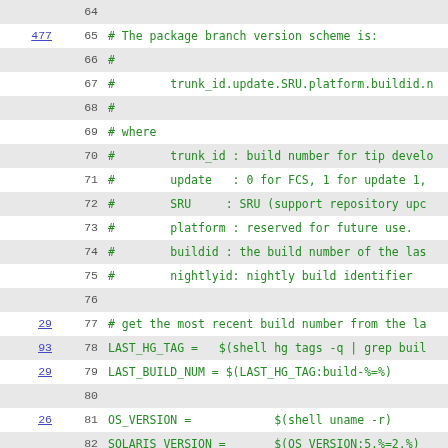[Figure (screenshot): Code viewer showing lines 64-86 of a Makefile with blame annotations. Lines show package branch version scheme comments and variable assignments for LAST_HG_TAG, LAST_BUILD_NUM, OS_VERSION, SOLARIS_VERSION, BUILD_NUM.]